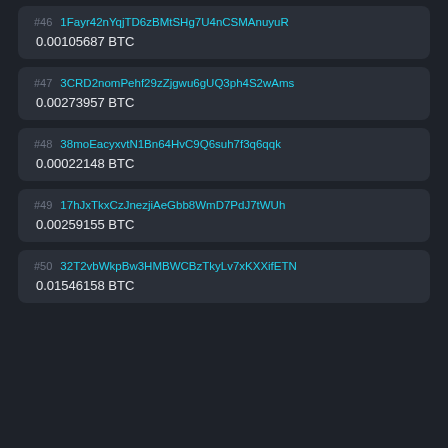#46 1Fayr42nYqjTD6zBMtSHg7U4nCSMAnuyuR
0.00105687 BTC
#47 3CRD2nomPehf29zZjgwu6gUQ3ph4S2wAms
0.00273957 BTC
#48 38moEacyxvtN1Bn64HvC9Q6suh7f3q6qqk
0.00022148 BTC
#49 17hJxTkxCzJnezjiAeGbb8WmD7PdJ7tWUh
0.00259155 BTC
#50 32T2vbWkpBw3HMBWCBzTkyLv7xKXXifETN
0.01546158 BTC